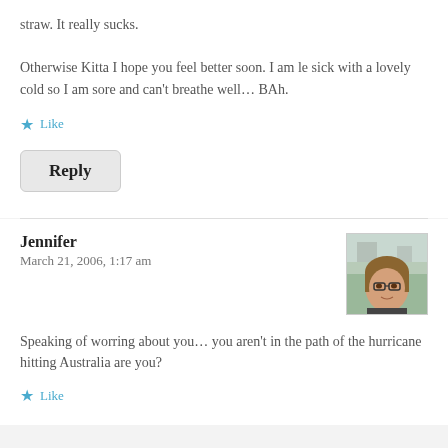straw. It really sucks.

Otherwise Kitta I hope you feel better soon. I am le sick with a lovely cold so I am sore and can't breathe well... BAh.
Like
Reply
Jennifer
March 21, 2006, 1:17 am
[Figure (photo): Avatar photo of Jennifer, a woman with glasses and brown/blonde hair]
Speaking of worring about you... you aren't in the path of the hurricane hitting Australia are you?
Like